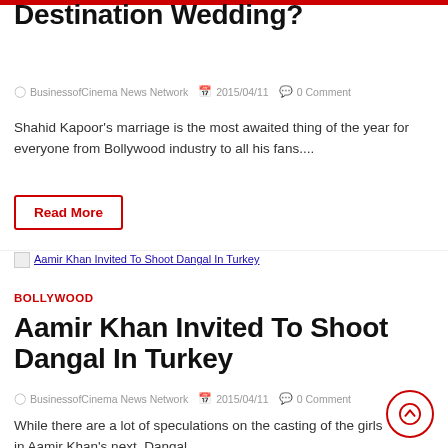Rajput Finalised On Their Destination Wedding?
BusinessofCinema News Network  2015/04/11  0 Comment
Shahid Kapoor's marriage is the most awaited thing of the year for everyone from Bollywood industry to all his fans....
Read More
[Figure (photo): Thumbnail image link for Aamir Khan Invited To Shoot Dangal In Turkey]
BOLLYWOOD
Aamir Khan Invited To Shoot Dangal In Turkey
BusinessofCinema News Network  2015/04/11  0 Comment
While there are a lot of speculations on the casting of the girls in Aamir Khan's next, Dangal...